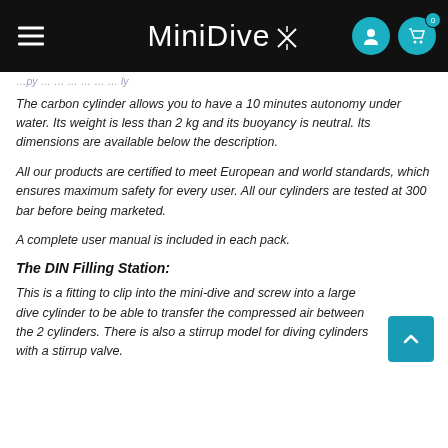MiniDive
The carbon cylinder allows you to have a 10 minutes autonomy under water. Its weight is less than 2 kg and its buoyancy is neutral. Its dimensions are available below the description.
All our products are certified to meet European and world standards, which ensures maximum safety for every user. All our cylinders are tested at 300 bar before being marketed.
A complete user manual is included in each pack.
The DIN Filling Station:
This is a fitting to clip into the mini-dive and screw into a large dive cylinder to be able to transfer the compressed air between the 2 cylinders. There is also a stirrup model for diving cylinders with a stirrup valve.